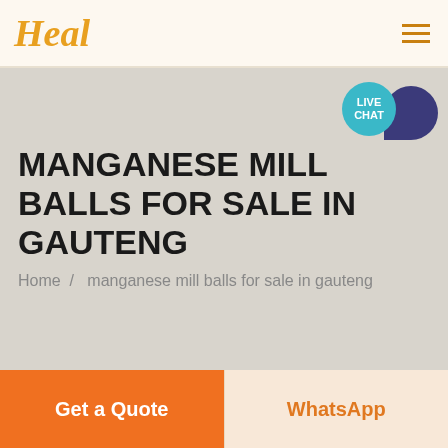Heal
[Figure (illustration): Live chat button with teal circle badge labeled LIVE CHAT and dark navy speech bubble icon to the right]
MANGANESE MILL BALLS FOR SALE IN GAUTENG
Home / manganese mill balls for sale in gauteng
Get a Quote
WhatsApp